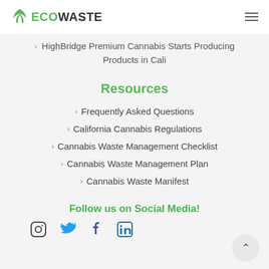ECOWASTE
HighBridge Premium Cannabis Starts Producing Products in Cali
Resources
Frequently Asked Questions
California Cannabis Regulations
Cannabis Waste Management Checklist
Cannabis Waste Management Plan
Cannabis Waste Manifest
Follow us on Social Media!
[Figure (other): Social media icons: Instagram, Twitter, Facebook, LinkedIn]